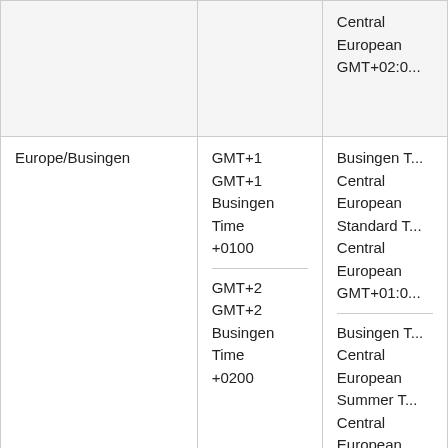| Timezone | Offset | Names |
| --- | --- | --- |
|  |  | Central
European
GMT+02:0... |
| Europe/Busingen | GMT+1
GMT+1
Busingen Time
+0100

GMT+2
GMT+2
Busingen Time
+0200 | Busingen T...
Central
European
Standard T...
Central
European
GMT+01:0...

Busingen T...
Central
European
Summer T...
Central
European
GMT+02:0... |
| Europe/Chisinau | GMT+2
GMT+2 | Moldova T...
Eastern |